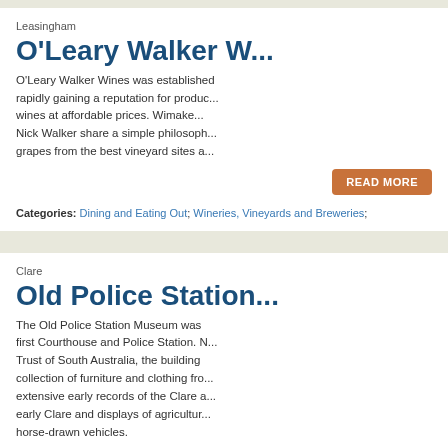Leasingham
O'Leary Walker W...
O'Leary Walker Wines was established rapidly gaining a reputation for producing wines at affordable prices. Winemakers Nick Walker share a simple philosophy: grapes from the best vineyard sites a...
READ MORE
Categories: Dining and Eating Out; Wineries, Vineyards and Breweries;
Clare
Old Police Station...
The Old Police Station Museum was first Courthouse and Police Station. N... Trust of South Australia, the building collection of furniture and clothing fro... extensive early records of the Clare a... early Clare and displays of agricultur... horse-drawn vehicles.
READ MORE
Categories: Galleries, Museums and Collections; Historical Sites and L...